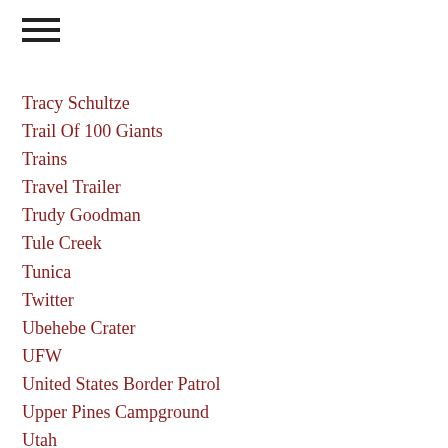Tracy Schultze
Trail Of 100 Giants
Trains
Travel Trailer
Trudy Goodman
Tule Creek
Tunica
Twitter
Ubehebe Crater
UFW
United States Border Patrol
Upper Pines Campground
Utah
Utica
Valley Of Fire
Vernal
Victoria Mine
Vin Scully